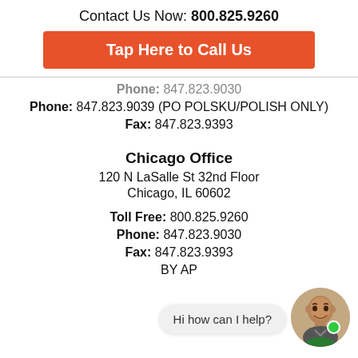Contact Us Now: 800.825.9260
Tap Here to Call Us
Phone: 847.823.9030
Phone: 847.823.9039 (PO POLSKU/POLISH ONLY)
Fax: 847.823.9393
Chicago Office
120 N LaSalle St 32nd Floor
Chicago, IL 60602
Toll Free: 800.825.9260
Phone: 847.823.9030
Fax: 847.823.9393
BY AP
Hi how can I help?